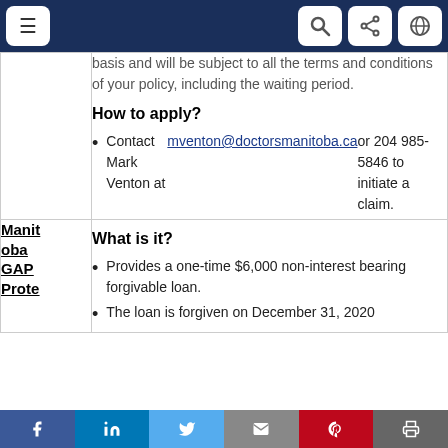Navigation bar with menu and icons
basis and will be subject to all the terms and conditions of your policy, including the waiting period.
How to apply?
Contact Mark Venton at mventon@doctorsmanitoba.ca or 204 985-5846 to initiate a claim.
Manitoba GAP Protection
What is it?
Provides a one-time $6,000 non-interest bearing forgivable loan.
The loan is forgiven on December 31, 2020
Social share bar: Facebook, LinkedIn, Twitter, Email, Pinterest, Print